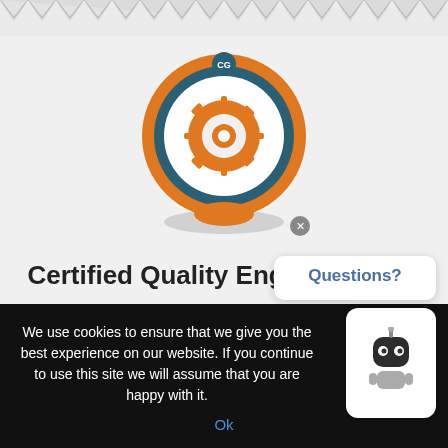[Figure (logo): Circular badge logo with CG initials at top in dark teal, orange outer ring, dark teal inner ring, white center with orange gear/cog icon]
Certified Quality Engineer(CQE)
Master the Quality Engineering Concepts - Comprehensive Certified Quality Engineer(CQE) Exam
We use cookies to ensure that we give you the best experience on our website. If you continue to use this site we will assume that you are happy with it.
Ok
Questions?
[Figure (illustration): Small robot chatbot icon]